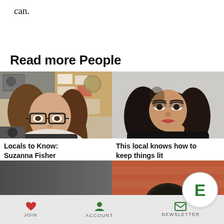can.
Read more People
[Figure (photo): Photo of Suzanna Fisher, a woman with curly brown hair and black-rimmed glasses, in an office with papers and artwork on the walls]
Locals to Know: Suzanna Fisher
[Figure (photo): Photo of a woman with long dark hair, posing with her hand near her chin against a neutral background]
This local knows how to keep things lit
[Figure (photo): Partial photo with dark gradient background, bottom left card]
[Figure (photo): Partial photo showing top of a person's head against a brick wall background]
JOIN   ACCOUNT   NEWSLETTER